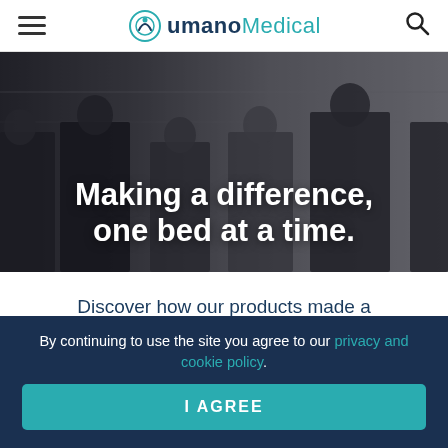Umano Medical
[Figure (photo): Five business professionals walking together in a modern industrial/healthcare facility, overlaid with bold white text reading 'Making a difference, one bed at a time.']
Making a difference, one bed at a time.
Discover how our products made a real difference for healthcare
By continuing to use the site you agree to our privacy and cookie policy.
I AGREE